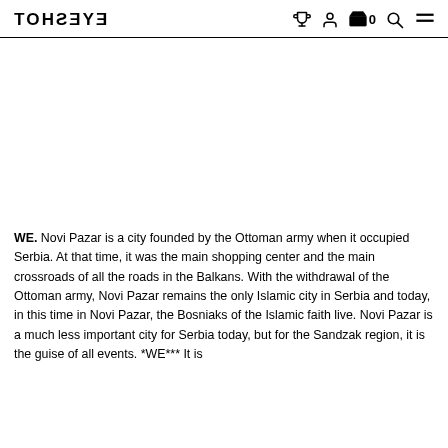EYESHOT — navigation icons: trophy, user, cart (0), search, menu
[Figure (photo): Large white/blank image area below the navigation header]
WE. Novi Pazar is a city founded by the Ottoman army when it occupied Serbia. At that time, it was the main shopping center and the main crossroads of all the roads in the Balkans. With the withdrawal of the Ottoman army, Novi Pazar remains the only Islamic city in Serbia and today, in this time in Novi Pazar, the Bosniaks of the Islamic faith live. Novi Pazar is a much less important city for Serbia today, but for the Sandzak region, it is the guise of all events. *WE*** It is